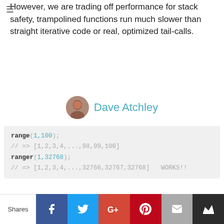However, we are trading off performance for stack safety, trampolined functions run much slower than straight iterative code or real, optimized tail-calls.
[Figure (photo): Circular avatar photo of Dave Atchley]
Dave Atchley
[Figure (screenshot): Code block showing: range(1,100); // => [1,2,3,4,...,98,99,100] ranger(1,32768); // => [1,2,3,4,...,32766,32767,32768] WORKS!!]
Here's how the call stack looks when executing our function using trampoline, the stack size is a constant, with a new stack only being created on each iterative execution of the recursive function.
[Figure (illustration): Diagram showing call stack execution with trampoline, showing trampoliner(range(1,1)) boxes connected in sequence]
Shares | Facebook | Twitter | Google+ | Pinterest | Email | Crown